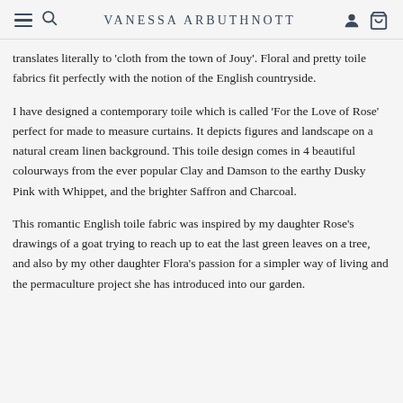VANESSA ARBUTHNOTT
translates literally to 'cloth from the town of Jouy'. Floral and pretty toile fabrics fit perfectly with the notion of the English countryside.
I have designed a contemporary toile which is called 'For the Love of Rose' perfect for made to measure curtains. It depicts figures and landscape on a natural cream linen background. This toile design comes in 4 beautiful colourways from the ever popular Clay and Damson to the earthy Dusky Pink with Whippet, and the brighter Saffron and Charcoal.
This romantic English toile fabric was inspired by my daughter Rose's drawings of a goat trying to reach up to eat the last green leaves on a tree, and also by my other daughter Flora's passion for a simpler way of living and the permaculture project she has introduced into our garden.